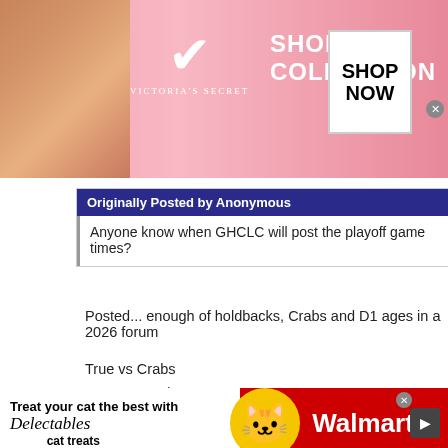[Figure (photo): Victoria's Secret advertisement banner with model, logo, 'SHOP THE COLLECTION' text, and 'SHOP NOW' button]
Originally Posted by Anonymous
Anyone know when GHCLC will post the playoff game times?
Posted... enough of holdbacks, Crabs and D1 ages in a 2026 forum
True vs Crabs
DCE vs Hawks
Should be good weekend for these teams...
Will DCE be the new #RUNDMV or Maryland run the HOCO league
Good luck to the playoff teams this weekend. Last weekend ever of HC
[Figure (photo): Walmart advertisement banner with Delectables cat treats promotion]